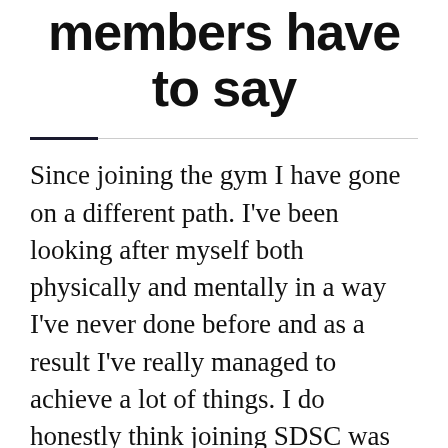members have to say
Since joining the gym I have gone on a different path. I've been looking after myself both physically and mentally in a way I've never done before and as a result I've really managed to achieve a lot of things. I do honestly think joining SDSC was the start of it